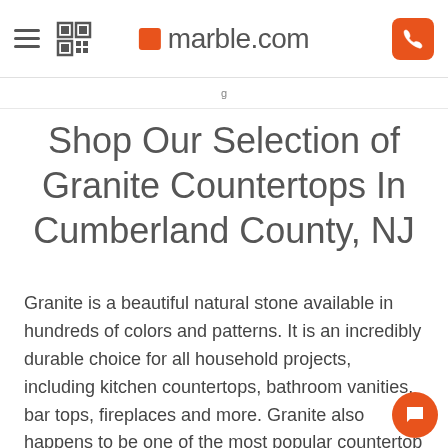marble.com
Shop Our Selection of Granite Countertops In Cumberland County, NJ
Granite is a beautiful natural stone available in hundreds of colors and patterns. It is an incredibly durable choice for all household projects, including kitchen countertops, bathroom vanities, bar tops, fireplaces and more. Granite also happens to be one of the most popular countertop materials we carry at Marble.com in Cumberland County, New Jersey. We carry more than 2,000 unique colors of natural stone, so you will be sure to find something that fits your décor needs. Thanks to our advanced technology, you'll never have to wait longer than three days for your granite countertop installation. Through the use of our of-the-line measuring and fabrication equipment, we strive to achieve